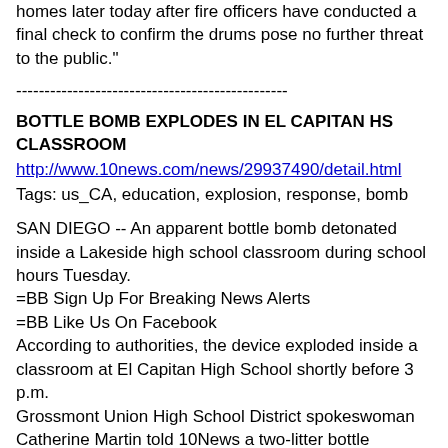homes later today after fire officers have conducted a final check to confirm the drums pose no further threat to the public."
------------------------------------------------
BOTTLE BOMB EXPLODES IN EL CAPITAN HS CLASSROOM
http://www.10news.com/news/29937490/detail.html
Tags: us_CA, education, explosion, response, bomb
SAN DIEGO -- An apparent bottle bomb detonated inside a Lakeside high school classroom during school hours Tuesday.
=BB Sign Up For Breaking News Alerts
=BB Like Us On Facebook
According to authorities, the device exploded inside a classroom at El Capitan High School shortly before 3 p.m.
Grossmont Union High School District spokeswoman Catherine Martin told 10News a two-litter bottle containing an unknown substance was placed in a